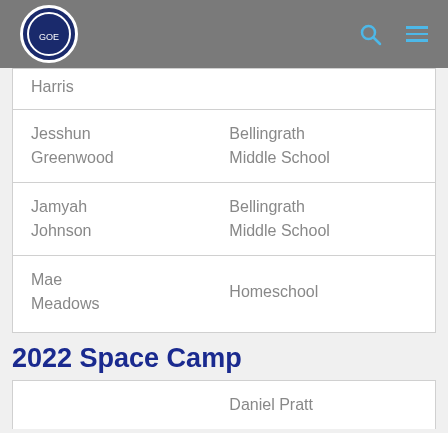Gathering of Eagles Foundation
| Harris |  |
| Jesshun Greenwood | Bellingrath Middle School |
| Jamyah Johnson | Bellingrath Middle School |
| Mae Meadows | Homeschool |
2022 Space Camp
|  | Daniel Pratt |